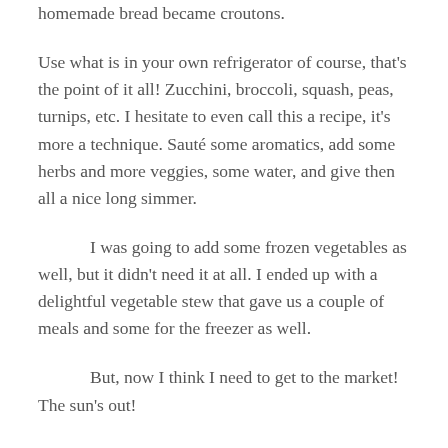homemade bread became croutons.
Use what is in your own refrigerator of course, that's the point of it all! Zucchini, broccoli, squash, peas, turnips, etc. I hesitate to even call this a recipe, it's more a technique. Sauté some aromatics, add some herbs and more veggies, some water, and give then all a nice long simmer.
I was going to add some frozen vegetables as well, but it didn't need it at all. I ended up with a delightful vegetable stew that gave us a couple of meals and some for the freezer as well.
But, now I think I need to get to the market! The sun's out!